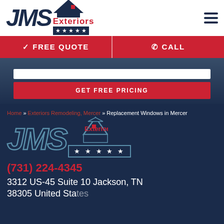[Figure (logo): JMS Exteriors logo with house icon, red 'Exteriors' text and dark navy stars bar, plus hamburger menu icon on right]
✓ FREE QUOTE   ✆ CALL
GET FREE PRICING
Home » Exteriors Remodeling, Mercer » Replacement Windows in Mercer
[Figure (logo): JMS Exteriors logo (large, outline style) on dark navy background with red Exteriors text and star bar]
(731) 224-4345
3312 US-45 Suite 10 Jackson, TN
38305 United States